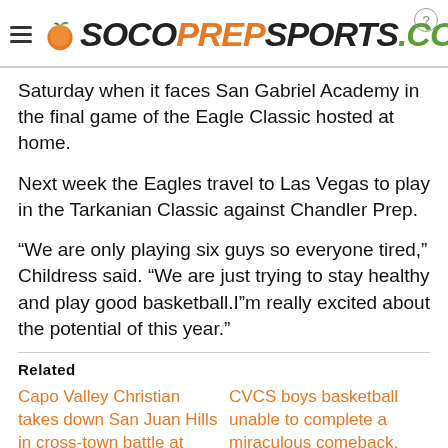SOCOPrepSports.com
Saturday when it faces San Gabriel Academy in the final game of the Eagle Classic hosted at home.
Next week the Eagles travel to Las Vegas to play in the Tarkanian Classic against Chandler Prep.
“We are only playing six guys so everyone tired,” Childress said. “We are just trying to stay healthy and play good basketball.I”m really excited about the potential of this year.”
Related
Capo Valley Christian takes down San Juan Hills in cross-town battle at Diablo Inferno
CVCS boys basketball unable to complete a miraculous comeback, falls to Fairmont